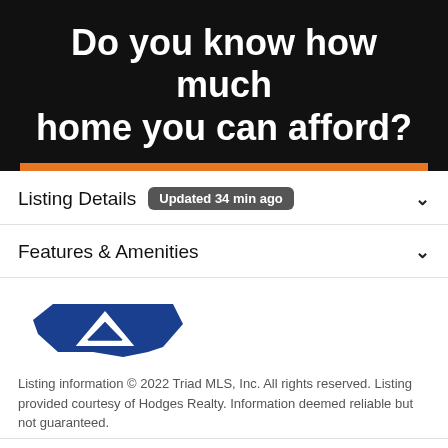Do you know how much home you can afford?
Listing Details  Updated 34 min ago
Features & Amenities
[Figure (logo): Triad MLS North Carolina state logo with triangle symbol]
Listing information © 2022 Triad MLS, Inc. All rights reserved. Listing provided courtesy of Hodges Realty. Information deemed reliable but not guaranteed.
Schools
Take a Tour
Ask A Question
Payment Calculator